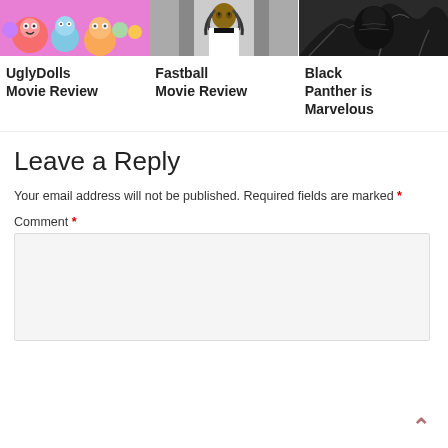[Figure (photo): UglyDolls movie still - colorful animated monster characters]
[Figure (photo): Fastball movie still - person in sports uniform with dreadlocks]
[Figure (photo): Black Panther movie still - dark nature scene]
UglyDolls Movie Review
Fastball Movie Review
Black Panther is Marvelous
Leave a Reply
Your email address will not be published. Required fields are marked *
Comment *